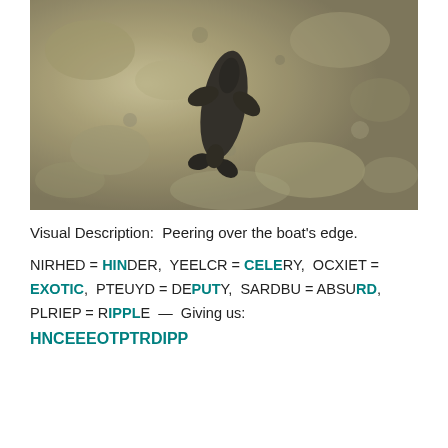[Figure (photo): Aerial/overhead view of a dark fish (shark-like) swimming in shallow clear water over rocky/sandy bottom, viewed from above a boat's edge.]
Visual Description:  Peering over the boat's edge.
NIRHED = HINDER, YEELCR = CELERY, OCXIET = EXOTIC, PTEUYD = DEPUTY, SARDBU = ABSURD, PLRIEP = RIPPLE — Giving us: HNCEEEOTPTRDIPP